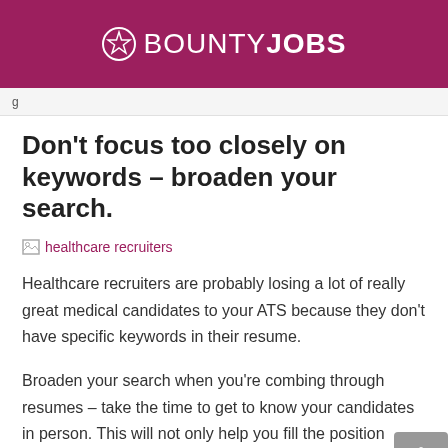BOUNTYJOBS
g
Don’t focus too closely on keywords – broaden your search.
[Figure (photo): Broken image placeholder with alt text 'healthcare recruiters' shown as a link in red/maroon color]
Healthcare recruiters are probably losing a lot of really great medical candidates to your ATS because they don’t have specific keywords in their resume.
Broaden your search when you’re combing through resumes – take the time to get to know your candidates in person. This will not only help you fill the position you’re currently working on, but could help you find